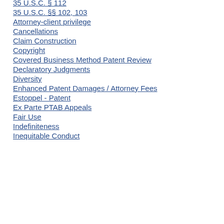35 U.S.C. § 112
35 U.S.C. §§ 102, 103
Attorney-client privilege
Cancellations
Claim Construction
Copyright
Covered Business Method Patent Review
Declaratory Judgments
Diversity
Enhanced Patent Damages / Attorney Fees
Estoppel - Patent
Ex Parte PTAB Appeals
Fair Use
Indefiniteness
Inequitable Conduct